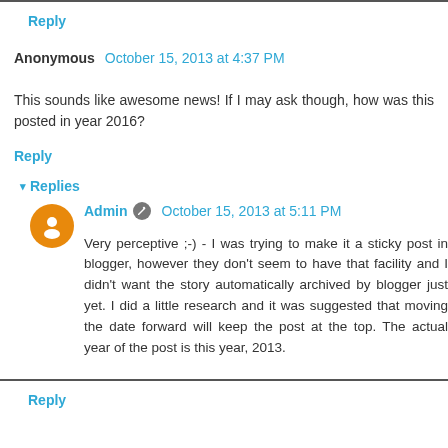Reply
Anonymous October 15, 2013 at 4:37 PM
This sounds like awesome news! If I may ask though, how was this posted in year 2016?
Reply
Replies
Admin October 15, 2013 at 5:11 PM
Very perceptive ;-) - I was trying to make it a sticky post in blogger, however they don't seem to have that facility and I didn't want the story automatically archived by blogger just yet. I did a little research and it was suggested that moving the date forward will keep the post at the top. The actual year of the post is this year, 2013.
Reply